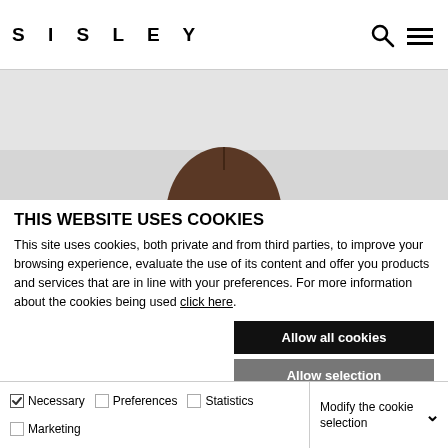SISLEY
[Figure (photo): Top portion of a person's head with dark hair, partially visible, against a light gray background — website hero image.]
THIS WEBSITE USES COOKIES
This site uses cookies, both private and from third parties, to improve your browsing experience, evaluate the use of its content and offer you products and services that are in line with your preferences. For more information about the cookies being used click here.
Allow all cookies
Allow selection
Continue without accepting
Necessary  Preferences  Statistics  Marketing  Modify the cookie selection